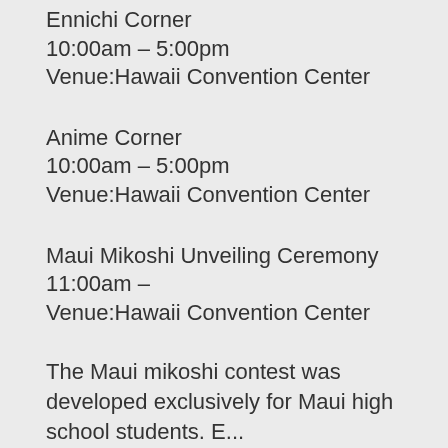Ennichi Corner
10:00am – 5:00pm
Venue:Hawaii Convention Center
Anime Corner
10:00am – 5:00pm
Venue:Hawaii Convention Center
Maui Mikoshi Unveiling Ceremony
11:00am –
Venue:Hawaii Convention Center
The Maui mikoshi contest was developed exclusively for Maui high school students. E...